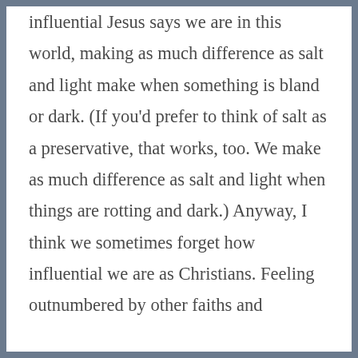influential Jesus says we are in this world, making as much difference as salt and light make when something is bland or dark. (If you'd prefer to think of salt as a preservative, that works, too. We make as much difference as salt and light when things are rotting and dark.) Anyway, I think we sometimes forget how influential we are as Christians. Feeling outnumbered by other faiths and